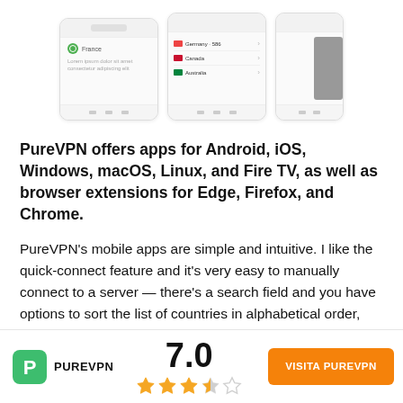[Figure (screenshot): Three mobile app screenshots of PureVPN application showing server selection screens]
PureVPN offers apps for Android, iOS, Windows, macOS, Linux, and Fire TV, as well as browser extensions for Edge, Firefox, and Chrome.
PureVPN's mobile apps are simple and intuitive. I like the quick-connect feature and it's very easy to manually connect to a server — there's a search field and you have options to sort the list of countries in alphabetical order, popularity, ping, and ... PureVPN...
[Figure (logo): PureVPN logo with green shield icon and PUREVPN text, rating 7.0 with 3.5 stars, and orange VISITA PUREVPN button]